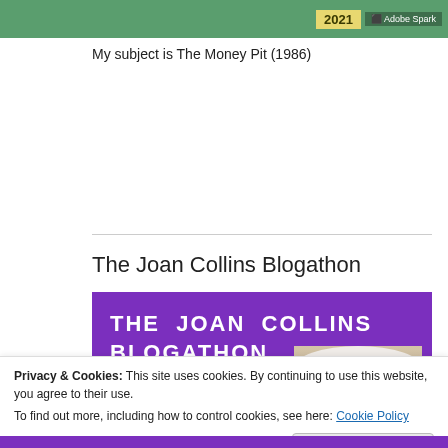[Figure (screenshot): Top banner strip with green background, '2021' yellow badge and 'Adobe Spark' label]
My subject is The Money Pit (1986)
The Joan Collins Blogathon
[Figure (screenshot): Purple banner image reading 'THE JOAN COLLINS BLOGATHON 8TH TO 10TH' with a photo of a woman in a white fur hat]
Privacy & Cookies: This site uses cookies. By continuing to use this website, you agree to their use.
To find out more, including how to control cookies, see here: Cookie Policy
Close and accept